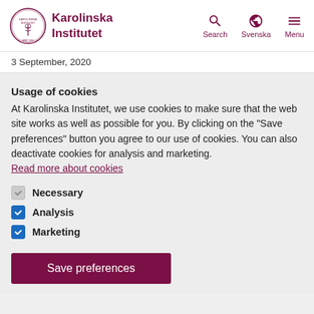[Figure (logo): Karolinska Institutet logo with circular emblem and name]
3 September, 2020
Usage of cookies
At Karolinska Institutet, we use cookies to make sure that the web site works as well as possible for you. By clicking on the "Save preferences" button you agree to our use of cookies. You can also deactivate cookies for analysis and marketing.
Read more about cookies
Necessary
Analysis
Marketing
Save preferences